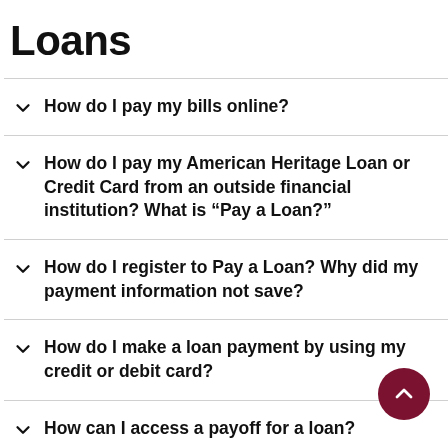Loans
How do I pay my bills online?
How do I pay my American Heritage Loan or Credit Card from an outside financial institution? What is “Pay a Loan?”
How do I register to Pay a Loan? Why did my payment information not save?
How do I make a loan payment by using my credit or debit card?
How can I access a payoff for a loan?